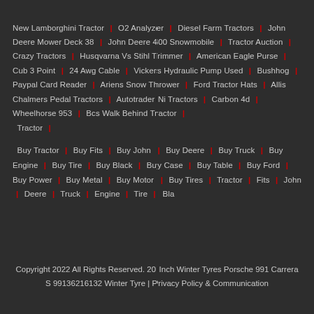New Lamborghini Tractor | O2 Analyzer | Diesel Farm Tractors | John Deere Mower Deck 38 | John Deere 400 Snowmobile | Tractor Auction | Crazy Tractors | Husqvarna Vs Stihl Trimmer | American Eagle Purse | Cub 3 Point | 24 Awg Cable | Vickers Hydraulic Pump Used | Bushhog | Paypal Card Reader | Ariens Snow Thrower | Ford Tractor Hats | Allis Chalmers Pedal Tractors | Autotrader Ni Tractors | Carbon 4d | Wheelhorse 953 | Bcs Walk Behind Tractor | Tractor | Buy Tractor | Buy Fits | Buy John | Buy Deere | Buy Truck | Buy Engine | Buy Tire | Buy Black | Buy Case | Buy Table | Buy Ford | Buy Power | Buy Metal | Buy Motor | Buy Tires | Tractor | Fits | John | Deere | Truck | Engine | Tire | Bla
Copyright 2022 All Rights Reserved. 20 Inch Winter Tyres Porsche 991 Carrera S 99136216132 Winter Tyre | Privacy Policy & Communication